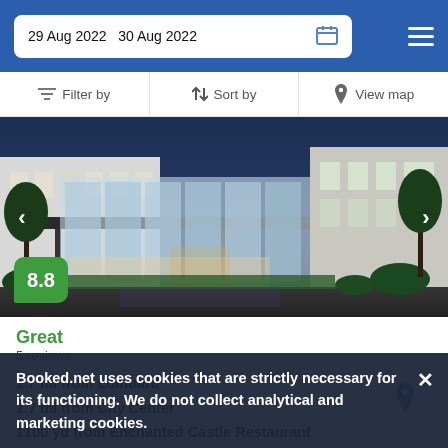29 Aug 2022  30 Aug 2022
Filter by  Sort by  View map
[Figure (photo): Exterior night photo of a modern hotel entrance with glass facade, canopy, and landscaping.]
8.8
Great
5 reviews
1.7 mi from Lombard
1.7 mi from City Center
1100 yd from Enchanted Castle Restaurant
This hotel in the western district of Glen Ellyn is situated close to College of Dupage and welcomes guests since 1967.
Booked.net uses cookies that are strictly necessary for its functioning. We do not collect analytical and marketing cookies.